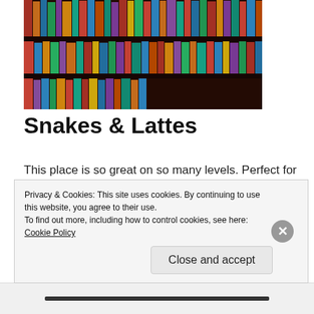[Figure (photo): Bookshelves filled with colorful board game boxes in a dark wood shelving unit, seen in perspective with warm lighting]
Snakes & Lattes
This place is so great on so many levels. Perfect for a first date, or a 100th date, we love spending an entire evening amongst the games and incredible atmosphere. The Annex location is our favorite, with cozy lighting
Privacy & Cookies: This site uses cookies. By continuing to use this website, you agree to their use.
To find out more, including how to control cookies, see here: Cookie Policy
Close and accept